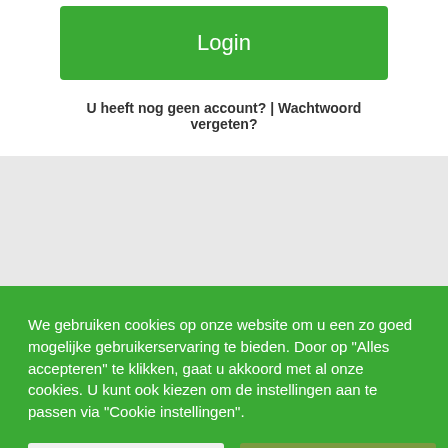[Figure (screenshot): Green Login button on white background]
U heeft nog geen account? | Wachtwoord vergeten?
We gebruiken cookies op onze website om u een zo goed mogelijke gebruikerservaring te bieden. Door op "Alles accepteren" te klikken, gaat u akkoord met al onze cookies. U kunt ook kiezen om de instellingen aan te passen via "Cookie instellingen".
Cookie instellingen
Alles accepteren